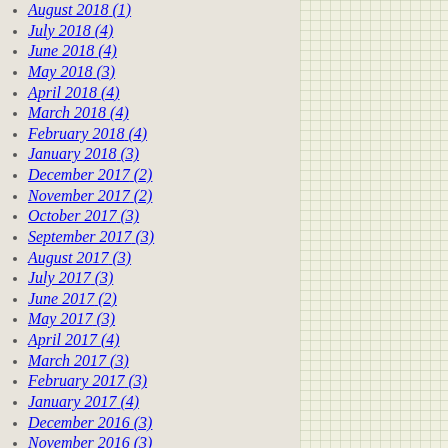August 2018 (1)
July 2018 (4)
June 2018 (4)
May 2018 (3)
April 2018 (4)
March 2018 (4)
February 2018 (4)
January 2018 (3)
December 2017 (2)
November 2017 (2)
October 2017 (3)
September 2017 (3)
August 2017 (3)
July 2017 (3)
June 2017 (2)
May 2017 (3)
April 2017 (4)
March 2017 (3)
February 2017 (3)
January 2017 (4)
December 2016 (3)
November 2016 (3)
October 2016 (4)
September 2016 (4)
August 2016 (2)
July 2016 (2)